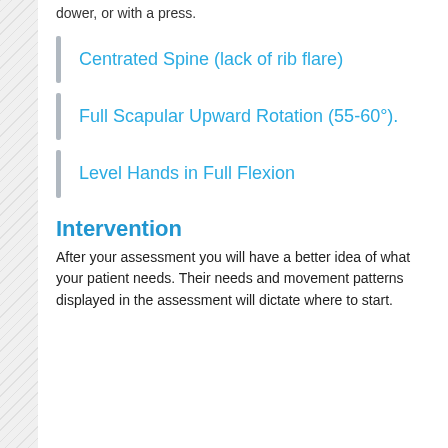dower, or with a press.
Centrated Spine (lack of rib flare)
Full Scapular Upward Rotation (55-60°).
Level Hands in Full Flexion
Intervention
After your assessment you will have a better idea of what your patient needs.  Their needs and movement patterns displayed in the assessment will dictate where to start.